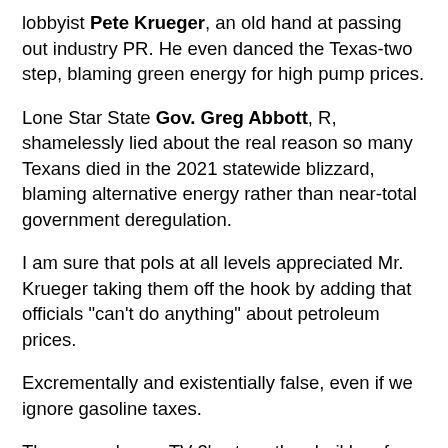lobbyist Pete Krueger, an old hand at passing out industry PR. He even danced the Texas-two step, blaming green energy for high pump prices.
Lone Star State Gov. Greg Abbott, R, shamelessly lied about the real reason so many Texans died in the 2021 statewide blizzard, blaming alternative energy rather than near-total government deregulation.
I am sure that pols at all levels appreciated Mr. Krueger taking them off the hook by adding that officials "can't do anything" about petroleum prices.
Excrementally and existentially false, even if we ignore gasoline taxes.
The same day as TV-2's story, the sheikhs of Araby "warned the world" that we are going to run out of oil unless, of course, we pay their vigorish...er, "invest" in more exploration. The actual amount of carbon still in the ground has long been a matter of guesswork.